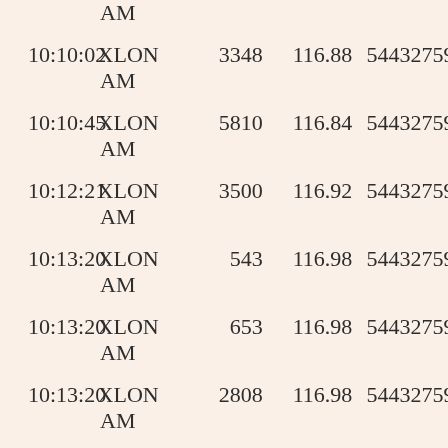| Time | Exchange | Quantity | Price | ID |
| --- | --- | --- | --- | --- |
| AM |  |  |  |  |
| 10:10:02 AM | XLON | 3348 | 116.88 | 544327591821999 |
| 10:10:45 AM | XLON | 5810 | 116.84 | 544327591822220 |
| 10:12:21 AM | XLON | 3500 | 116.92 | 544327591822546 |
| 10:13:20 AM | XLON | 543 | 116.98 | 544327591822797 |
| 10:13:20 AM | XLON | 653 | 116.98 | 544327591822789 |
| 10:13:20 AM | XLON | 2808 | 116.98 | 544327591822799 |
| 10:13:20 AM | XLON | 3577 | 116.98 | 544327591822798 |